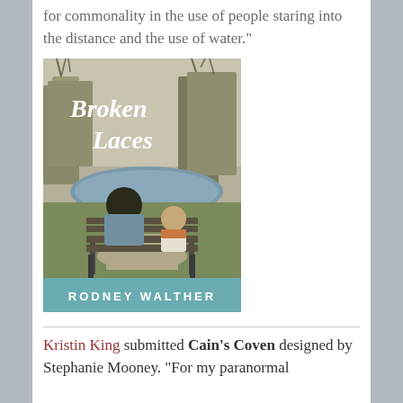for commonality in the use of people staring into the distance and the use of water."
[Figure (photo): Book cover of 'Broken Laces' by Rodney Walther. Shows two people (adult and child) sitting on a park bench with their backs to the viewer, looking toward a pond or river. Trees visible in background. Title 'Broken Laces' in white italic script at top. Author name 'RODNEY WALTHER' in white text on teal/blue-green banner at bottom.]
Kristin King submitted Cain's Coven designed by Stephanie Mooney. "For my paranormal